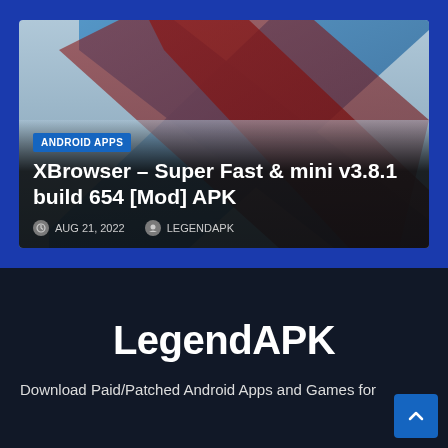[Figure (screenshot): XBrowser app card with X logo graphic on dark/gradient background]
ANDROID APPS
XBrowser – Super Fast & mini v3.8.1 build 654 [Mod] APK
AUG 21, 2022   LEGENDAPK
LegendAPK
Download Paid/Patched Android Apps and Games for